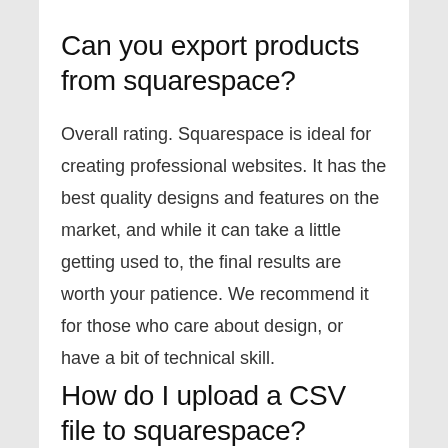Can you export products from squarespace?
Overall rating. Squarespace is ideal for creating professional websites. It has the best quality designs and features on the market, and while it can take a little getting used to, the final results are worth your patience. We recommend it for those who care about design, or have a bit of technical skill.
How do I upload a CSV file to squarespace?